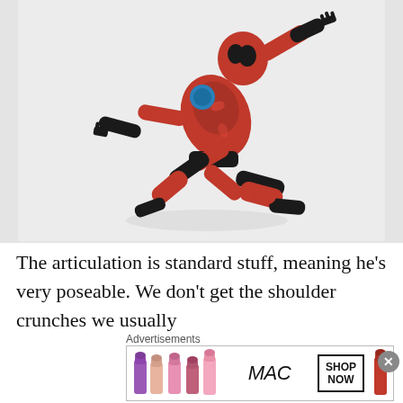[Figure (photo): A red and black articulated action figure (resembling a superhero in a running/leaping pose) photographed against a light gray/white background. The figure has detailed armor plating, articulated joints, and is posed dynamically mid-air.]
The articulation is standard stuff, meaning he's very poseable. We don't get the shoulder crunches we usually
[Figure (other): MAC Cosmetics advertisement banner showing colorful lipsticks (purple, pink, peach tones) on the left, MAC logo in the center, a 'SHOP NOW' button box, and a red lipstick on the right.]